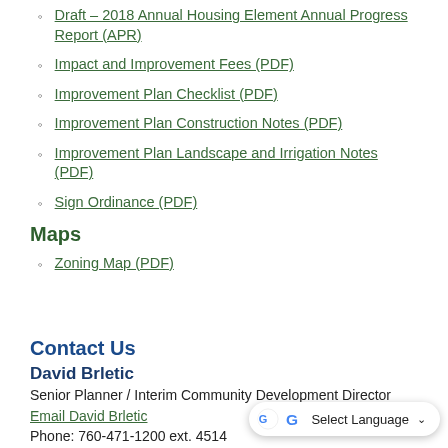Draft – 2018 Annual Housing Element Annual Progress Report (APR)
Impact and Improvement Fees (PDF)
Improvement Plan Checklist (PDF)
Improvement Plan Construction Notes (PDF)
Improvement Plan Landscape and Irrigation Notes (PDF)
Sign Ordinance (PDF)
Maps
Zoning Map (PDF)
Contact Us
David Brletic
Senior Planner / Interim Community Development Director
Email David Brletic
Phone: 760-471-1200 ext. 4514